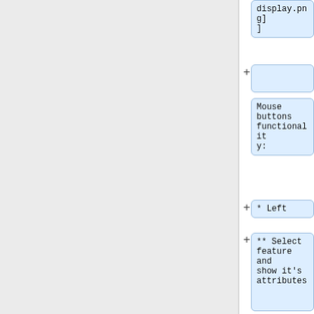display.png]
]
+
Mouse buttons functionality:
+ * Left
+ ** Select feature and show it's attributes
+
[[Image:wxgui-vdigit-display-attrb.png|thumb|center|4